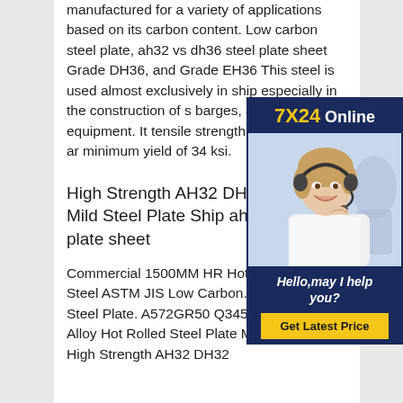manufactured for a variety of applications based on its carbon content. Low carbon steel plate, ah32 vs dh36 steel plate sheet Grade DH36, and Grade EH36 This steel is used almost exclusively in ship especially in the construction of s barges, and marine equipment. It tensile strength of 58 to 71 ksi, ar minimum yield of 34 ksi.
[Figure (photo): Advertisement box with '7X24 Online' header, photo of a smiling woman wearing a headset, text 'Hello, may I help you?' and a 'Get Latest Price' button]
High Strength AH32 DH32 Hot Mild Steel Plate Ship ah32 vs dh plate sheet
Commercial 1500MM HR Hot Rolled Sheet Steel ASTM JIS Low Carbon. Hot Rolled Steel Plate. A572GR50 Q345B S355JR Low Alloy Hot Rolled Steel Plate Mill standard. High Strength AH32 DH32